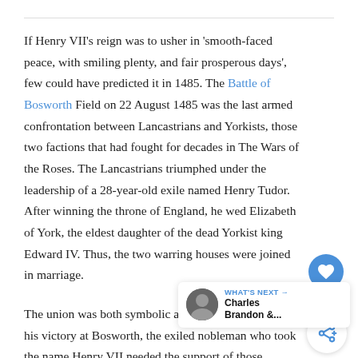If Henry VII's reign was to usher in 'smooth-faced peace, with smiling plenty, and fair prosperous days', few could have predicted it in 1485. The Battle of Bosworth Field on 22 August 1485 was the last armed confrontation between Lancastrians and Yorkists, those two factions that had fought for decades in The Wars of the Roses. The Lancastrians triumphed under the leadership of a 28-year-old exile named Henry Tudor. After winning the throne of England, he wed Elizabeth of York, the eldest daughter of the dead Yorkist king Edward IV. Thus, the two warring houses were joined in marriage.
The union was both symbolic and necessary. Despite his victory at Bosworth, the exiled nobleman who took the name Henry VII needed the support of those sympathetic to the defeated Yorkist cause. He also needed the